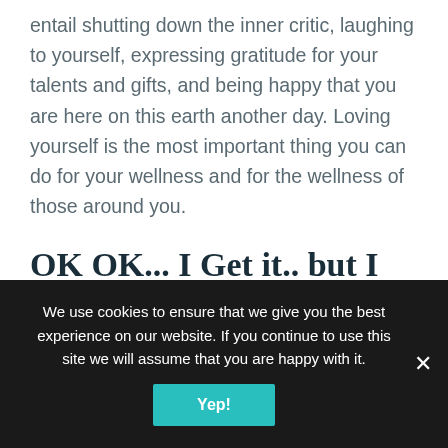entail shutting down the inner critic, laughing to yourself, expressing gratitude for your talents and gifts, and being happy that you are here on this earth another day. Loving yourself is the most important thing you can do for your wellness and for the wellness of those around you.
OK OK... I Get it.. but I Don't Have Time for All of That
We use cookies to ensure that we give you the best experience on our website. If you continue to use this site we will assume that you are happy with it.